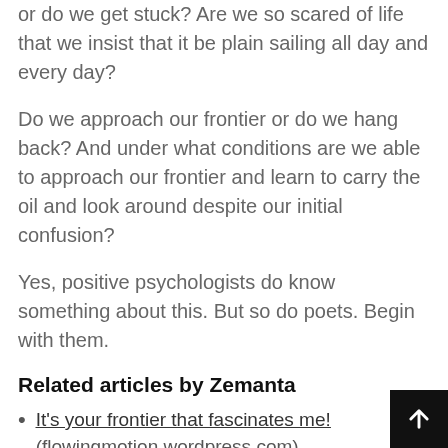or do we get stuck?  Are we so scared of life that we insist that it be plain sailing all day and every day?
Do we approach our frontier or do we hang back?  And under what conditions are we able to approach our frontier and learn to carry the oil and look around despite our initial confusion?
Yes, positive psychologists do know something about this.  But so do poets.  Begin with them.
Related articles by Zemanta
It's your frontier that fascinates me! (flowingmotion.wordpress.com)
Happiness & sorrow are two sides of a coin; it's in the maths (flowingmotion.wordpress.com)